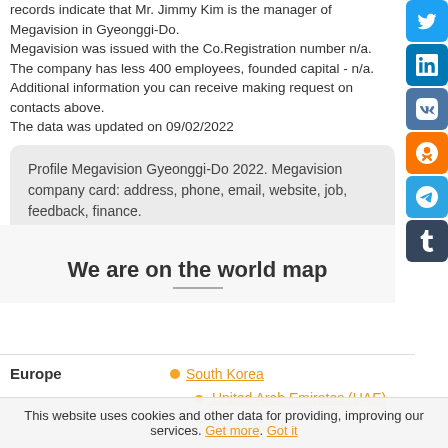Shi Gyeonggi-do 451-080. Megavision uses 0 trading names. Our records indicate that Mr. Jimmy Kim is the manager of Megavision in Gyeonggi-Do. Megavision was issued with the Co.Registration number n/a. The company has less 400 employees, founded capital - n/a. Additional information you can receive making request on contacts above. The data was updated on 09/02/2022
Profile Megavision Gyeonggi-Do 2022. Megavision company card: address, phone, email, website, job, feedback, finance.
We are on the world map
Europe
South Korea
United Arab Emirates (UAE)
This website uses cookies and other data for providing, improving our services. Get more. Got it